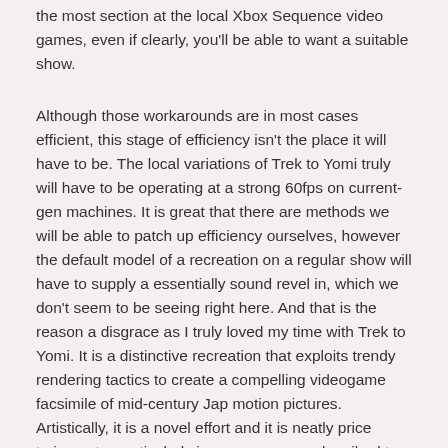the most section at the local Xbox Sequence video games, even if clearly, you'll be able to want a suitable show.
Although those workarounds are in most cases efficient, this stage of efficiency isn't the place it will have to be. The local variations of Trek to Yomi truly will have to be operating at a strong 60fps on current-gen machines. It is great that there are methods we will be able to patch up efficiency ourselves, however the default model of a recreation on a regular show will have to supply a essentially sound revel in, which we don't seem to be seeing right here. And that is the reason a disgrace as I truly loved my time with Trek to Yomi. It is a distinctive recreation that exploits trendy rendering tactics to create a compelling videogame facsimile of mid-century Jap motion pictures. Artistically, it is a novel effort and it is neatly price trying out – particularly in case you are subscribed to Xbox Sport Go, the place Trek to Yomi is to be had at the moment.